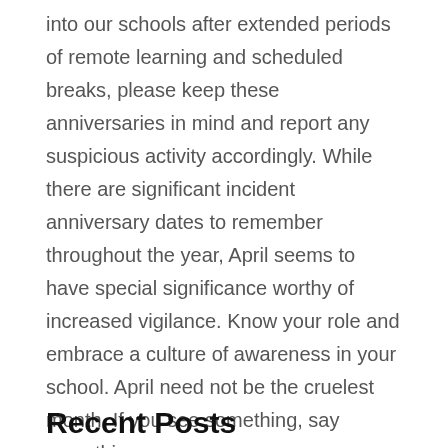into our schools after extended periods of remote learning and scheduled breaks, please keep these anniversaries in mind and report any suspicious activity accordingly. While there are significant incident anniversary dates to remember throughout the year, April seems to have special significance worthy of increased vigilance. Know your role and embrace a culture of awareness in your school. April need not be the cruelest month. If you see something, say something.
KEVIN CRAIG
Recent Posts